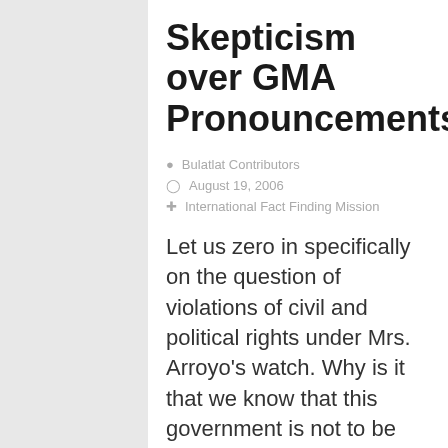Skepticism over GMA Pronouncements
Bulatlat Contributors
August 19, 2006
International Fact Finding Mission
Let us zero in specifically on the question of violations of civil and political rights under Mrs. Arroyo's watch. Why is it that we know that this government is not to be believed when it says it will